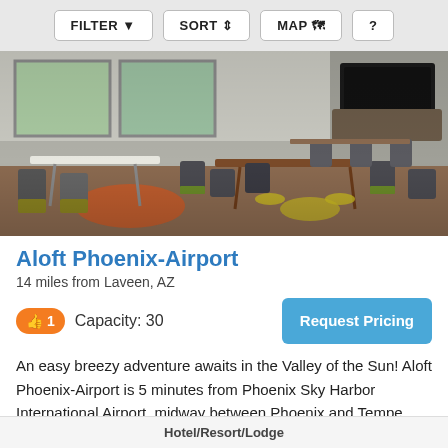FILTER  SORT  MAP  ?
[Figure (photo): Interior of Aloft Phoenix-Airport hotel lobby/lounge area with modern chairs, tables with colored circle accents, large windows, and a mounted flat-screen TV.]
Aloft Phoenix-Airport
14 miles from Laveen, AZ
👍 1   Capacity: 30
Request Pricing
An easy breezy adventure awaits in the Valley of the Sun! Aloft Phoenix-Airport is 5 minutes from Phoenix Sky Harbor International Airport, midway between Phoenix and Tempe, with easy access to the convention center, ASU campus and
Hotel/Resort/Lodge